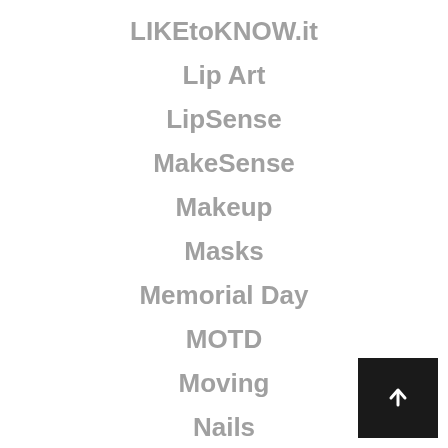LIKEtoKNOW.it
Lip Art
LipSense
MakeSense
Makeup
Masks
Memorial Day
MOTD
Moving
Nails
New In Stock
NFT
Patriotic
[Figure (other): Back to top button with upward arrow icon on black background]